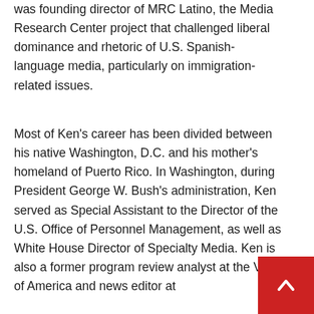was founding director of MRC Latino, the Media Research Center project that challenged liberal dominance and rhetoric of U.S. Spanish-language media, particularly on immigration-related issues.
Most of Ken's career has been divided between his native Washington, D.C. and his mother's homeland of Puerto Rico. In Washington, during President George W. Bush's administration, Ken served as Special Assistant to the Director of the U.S. Office of Personnel Management, as well as White House Director of Specialty Media. Ken is also a former program review analyst at the Voice of America and news editor at